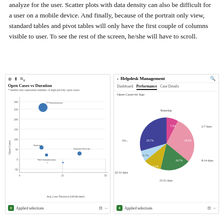analyze for the user. Scatter plots with data density can also be difficult for a user on a mobile device. And finally, because of the portrait only view, standard tables and pivot tables will only have the first couple of columns visible to user. To see the rest of the screen, he/she will have to scroll.
[Figure (continuous-plot): Bubble scatter plot showing Open Cases (y-axis) vs Avg Case Duration in dd:hh:mm (x-axis). Bubbles represent IT Infrastructure, Systems, Web Infrastructure, and Systems Develo... categories. Bubble size represents number of high priority open cases.]
[Figure (pie-chart): Pie chart showing open cases by age buckets in a mobile helpdesk management app.]